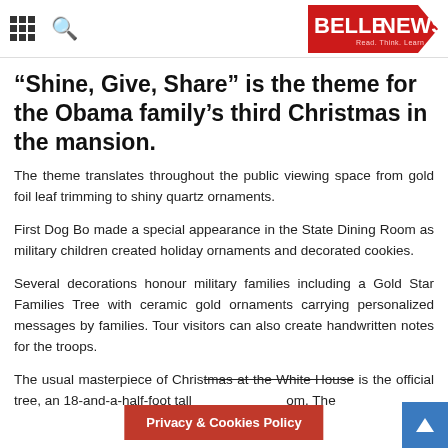BELLENEWS - Read. Think. Learn.
“Shine, Give, Share” is the theme for the Obama family’s third Christmas in the mansion.
The theme translates throughout the public viewing space from gold foil leaf trimming to shiny quartz ornaments.
First Dog Bo made a special appearance in the State Dining Room as military children created holiday ornaments and decorated cookies.
Several decorations honour military families including a Gold Star Families Tree with ceramic gold ornaments carrying personalized messages by families. Tour visitors can also create handwritten notes for the troops.
The usual masterpiece of Christmas at the White House is the official tree, an 18-and-a-half-foot tall… om. The
Privacy & Cookies Policy